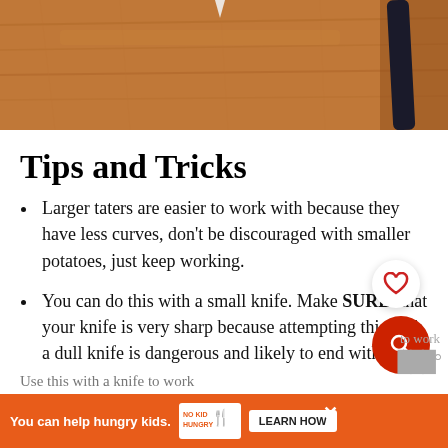[Figure (photo): Close-up photo of a wooden cutting board surface with a dark-handled knife, warm brown tones.]
Tips and Tricks
Larger taters are easier to work with because they have less curves, don't be discouraged with smaller potatoes, just keep working.
You can do this with a small knife. Make SURE that your knife is very sharp because attempting this with a dull knife is dangerous and likely to end with cuts.
[Figure (screenshot): Advertisement bar: 'You can help hungry kids. NO KID HUNGRY LEARN HOW' with close button.]